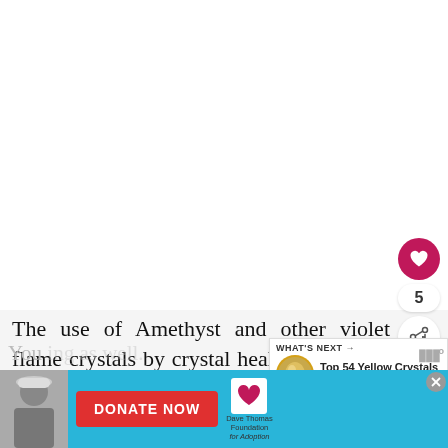[Figure (screenshot): White blank area at top of webpage, with a pink heart favorite button (showing count 5) and a share button on the right side]
The use of Amethyst and other violet flame crystals by crystal healers and other alternative practitioners is well known.
[Figure (screenshot): WHAT'S NEXT banner with thumbnail of yellow crystal and text: Top 54 Yellow Crystals &...]
[Figure (screenshot): Advertisement banner: DONATE NOW button with Dave Thomas Foundation for Adoption logo on cyan background, with photo of person on left]
You ... as well.